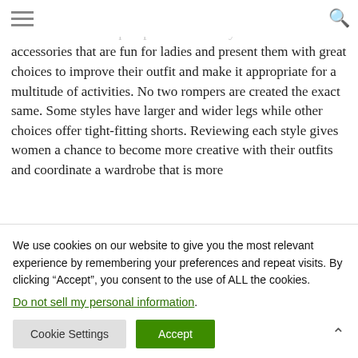[hamburger menu] [search icon]
choices for rompers and make the outfit more fun and carefree. Boutiques provide a variety of accessories that are fun for ladies and present them with great choices to improve their outfit and make it appropriate for a multitude of activities. No two rompers are created the exact same. Some styles have larger and wider legs while other choices offer tight-fitting shorts. Reviewing each style gives women a chance to become more creative with their outfits and coordinate a wardrobe that is more
We use cookies on our website to give you the most relevant experience by remembering your preferences and repeat visits. By clicking “Accept”, you consent to the use of ALL the cookies.
Do not sell my personal information.
Cookie Settings   Accept